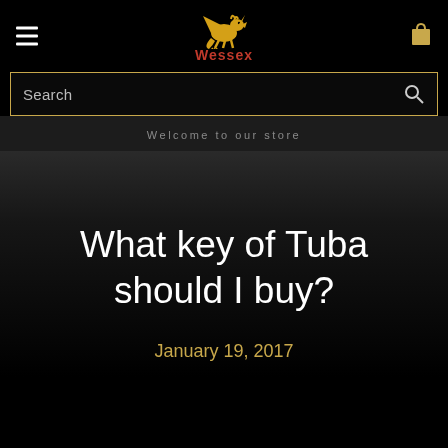Wessex
Search
Welcome to our store
What key of Tuba should I buy?
January 19, 2017